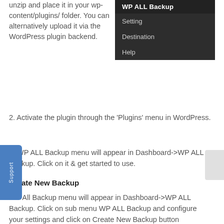unzip and place it in your wp-content/plugins/ folder. You can alternatively upload it via the WordPress plugin backend.
[Figure (screenshot): Dark WordPress admin sidebar menu showing WP ALL Backup with sub-items: Setting, Destination, Help]
2. Activate the plugin through the ‘Plugins’ menu in WordPress.
3. WP ALL Backup menu will appear in Dashboard->WP ALL Backup. Click on it & get started to use.
Create New Backup
WP All Backup menu will appear in Dashboard->WP ALL Backup. Click on sub menu WP ALL Backup and configure your settings and click on Create New Backup button